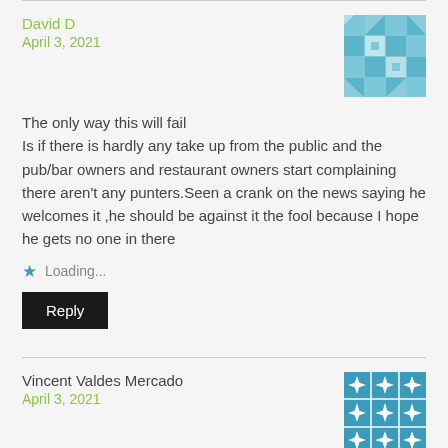David D
April 3, 2021
[Figure (illustration): Teal geometric quilt pattern avatar for David D]
The only way this will fail Is if there is hardly any take up from the public and the pub/bar owners and restaurant owners start complaining there aren't any punters.Seen a crank on the news saying he welcomes it ,he should be against it the fool because I hope he gets no one in there
Loading...
Reply
Vincent Valdes Mercado
April 3, 2021
[Figure (illustration): Teal geometric star/flower pattern avatar for Vincent Valdes Mercado]
Well done Hugo, people spread the